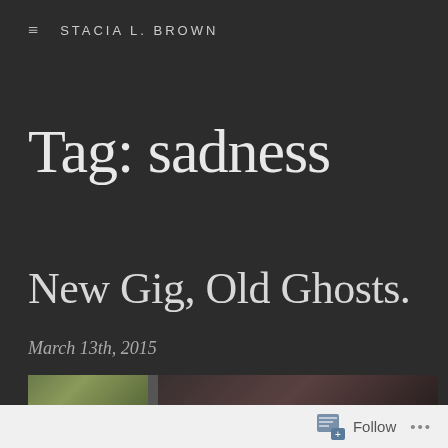STACIA L. BROWN
Tag: sadness
New Gig, Old Ghosts.
March 13th, 2015
[Figure (photo): Partial photo strip showing a person, partially visible at the bottom of the page]
Follow ...